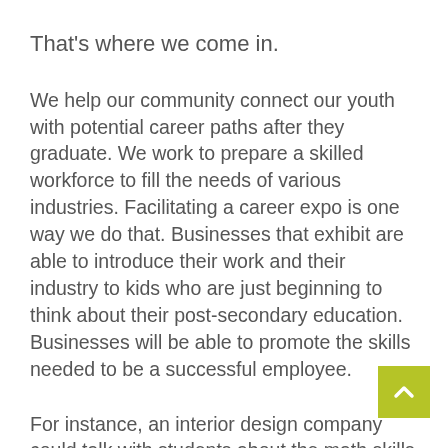That's where we come in.
We help our community connect our youth with potential career paths after they graduate. We work to prepare a skilled workforce to fill the needs of various industries. Facilitating a career expo is one way we do that. Businesses that exhibit are able to introduce their work and their industry to kids who are just beginning to think about their post-secondary education. Businesses will be able to promote the skills needed to be a successful employee.
For instance, an interior design company could talk with students about the math skills needed (same goes for a construction company). A digital media